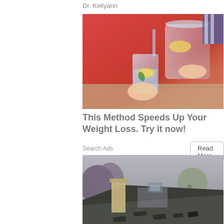Dr. Kellyann
[Figure (photo): Person in red top pouring water with lemon slices into a glass on a wooden surface]
This Method Speeds Up Your Weight Loss. Try it now!
Search Ads
[Figure (photo): Damaged roof with broken shingles, trees and sky in background]